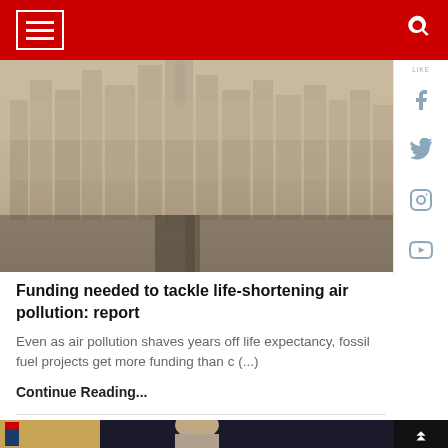Navigation bar with hamburger menu and search icon
[Figure (photo): Aerial view of a city skyline obscured by heavy smog/air pollution haze, buildings barely visible through brown/grey haze]
Funding needed to tackle life-shortening air pollution: report
Even as air pollution shaves years off life expectancy, fossil fuel projects get more funding than c (...)
Continue Reading...
[Figure (photo): Photo of a man (appears to be Joe Biden) standing at a podium with American flags in the background]